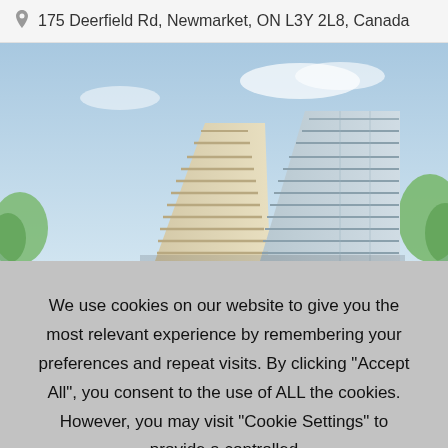175 Deerfield Rd, Newmarket, ON L3Y 2L8, Canada
[Figure (photo): Architectural rendering of a modern multi-storey condominium building with stacked balconies and glass facade, viewed from below against a blue sky with some clouds and green trees at the sides.]
We use cookies on our website to give you the most relevant experience by remembering your preferences and repeat visits. By clicking “Accept All”, you consent to the use of ALL the cookies. However, you may visit "Cookie Settings" to provide a controlled
Accept and Close ×
Your browser settings do not allow cross-site tracking for advertising. Click on this page to allow AdRoll to use cross-site tracking to tailor ads to you. Learn more or opt out of this AdRoll tracking by clicking here. This message only appears once.